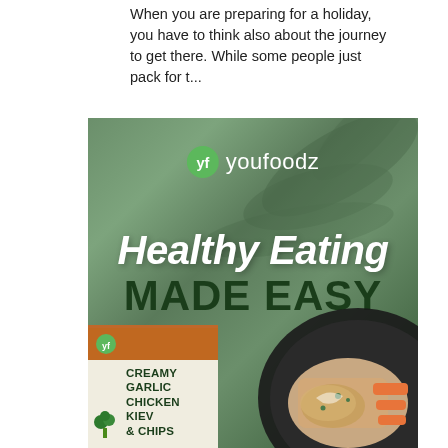When you are preparing for a holiday, you have to think also about the journey to get there. While some people just pack for t...
[Figure (photo): Youfoodz advertisement image with green textured background, logo at top, 'Healthy Eating MADE EASY' text, food plate on the right, and Creamy Garlic Chicken Kiev & Chips product box at bottom left.]